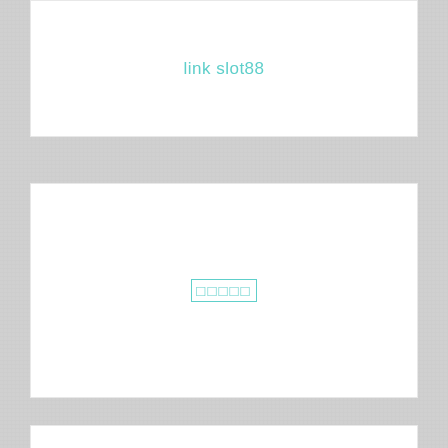link slot88
□□□□□
slot online gacor
Daftar Slot Online